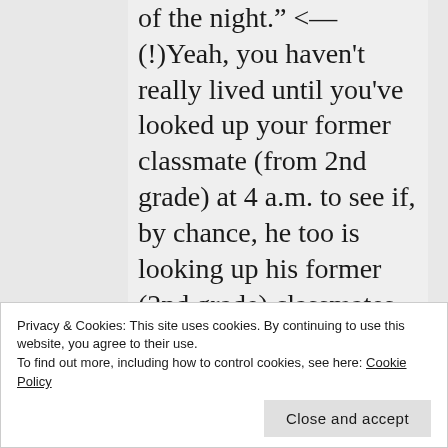of the night." <— (!)Yeah, you haven't really lived until you've looked up your former classmate (from 2nd grade) at 4 a.m. to see if, by chance, he too is looking up his former (2nd grade) classmates, wondering how they turned out in life, right? Good times! I've always thought you & I were cut
Privacy & Cookies: This site uses cookies. By continuing to use this website, you agree to their use.
To find out more, including how to control cookies, see here: Cookie Policy
confirms that we're virtual